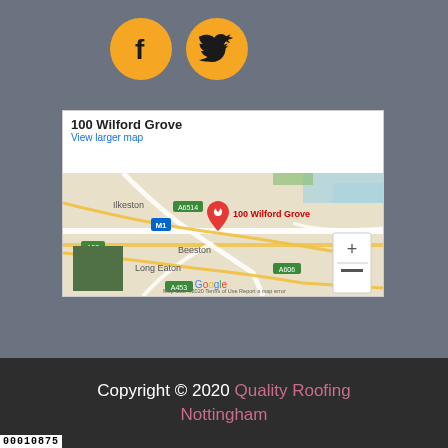[Figure (logo): Facebook icon - gold circle with black Facebook 'f' logo]
[Figure (logo): Twitter icon - gold circle with black Twitter bird logo]
[Figure (map): Google Maps embed showing 100 Wilford Grove location near Beeston, Nottingham, with red pin marker. Map shows Ilkeston, Beeston, Long Eaton areas with road labels A6514, M1, A52, A606, A453. Map data ©2020. Includes zoom controls and satellite thumbnail.]
Copyright © 2020 Quality Roofing Nottingham
00010875